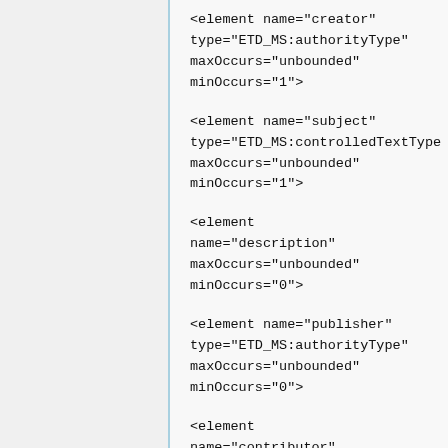<element name="creator" type="ETD_MS:authorityType" maxOccurs="unbounded" minOccurs="1">
<element name="subject" type="ETD_MS:controlledTextType maxOccurs="unbounded" minOccurs="1">
<element name="description" maxOccurs="unbounded" minOccurs="0">
<element name="publisher" type="ETD_MS:authorityType" maxOccurs="unbounded" minOccurs="0">
<element name="contributor" maxOccurs="unbounded" minOccurs="0">